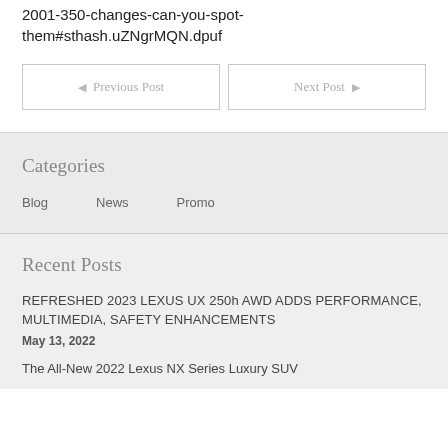2001-350-changes-can-you-spot-them#sthash.uZNgrMQN.dpuf
Previous Post
Next Post
Categories
Blog
News
Promo
Recent Posts
REFRESHED 2023 LEXUS UX 250h AWD ADDS PERFORMANCE, MULTIMEDIA, SAFETY ENHANCEMENTS
May 13, 2022
The All-New 2022 Lexus NX Series Luxury SUV